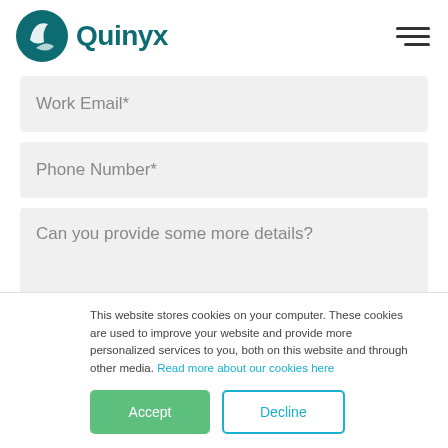[Figure (logo): Quinyx logo with teal leaf/circle icon and teal wordmark 'Quinyx']
Work Email*
Phone Number*
Can you provide some more details?
This website stores cookies on your computer. These cookies are used to improve your website and provide more personalized services to you, both on this website and through other media. Read more about our cookies here
Accept
Decline